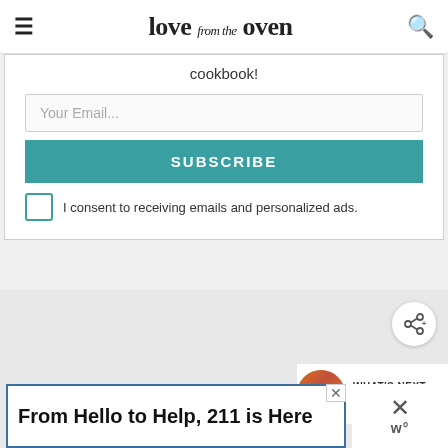love from the oven
cookbook!
Your Email...
SUBSCRIBE
I consent to receiving emails and personalized ads.
WHAT'S NEXT → Easy Nachos
From Hello to Help, 211 is Here